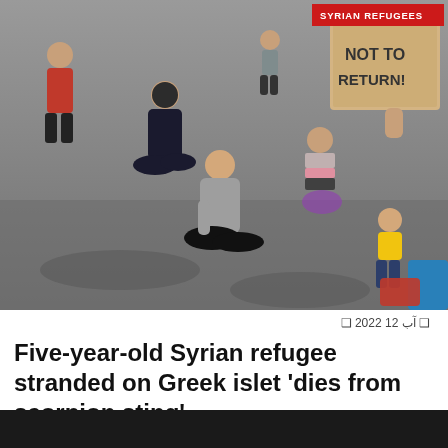[Figure (photo): Overhead view of Syrian refugee children and adults sitting on pavement, one person holding a cardboard sign reading 'NOT TO RETURN']
آب 12 2022 ❑ ❑
Five-year-old Syrian refugee stranded on Greek islet 'dies from scorpion sting'